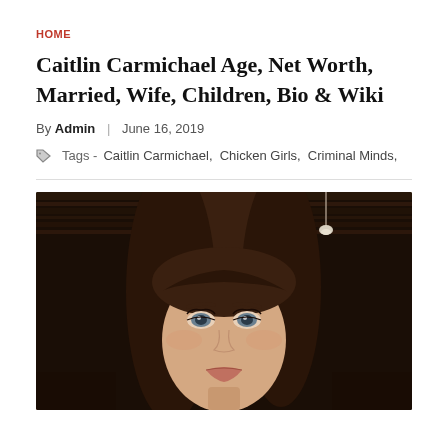HOME
Caitlin Carmichael Age, Net Worth, Married, Wife, Children, Bio & Wiki
By Admin | June 16, 2019
Tags - Caitlin Carmichael, Chicken Girls, Criminal Minds,
[Figure (photo): Photo of Caitlin Carmichael, a young woman with long brown hair and blue eyes, looking at the camera in a selfie-style photo, with ceiling lights visible in the dark wooden background.]